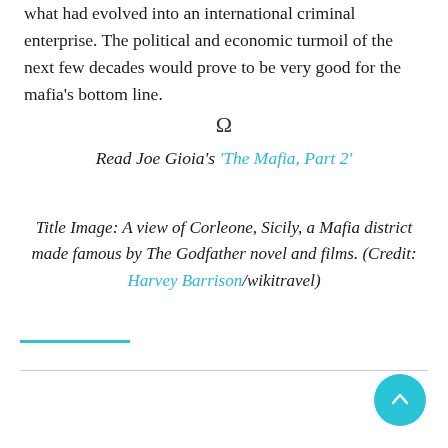what had evolved into an international criminal enterprise. The political and economic turmoil of the next few decades would prove to be very good for the mafia's bottom line.
Ω
Read Joe Gioia's 'The Mafia, Part 2'
Title Image: A view of Corleone, Sicily, a Mafia district made famous by The Godfather novel and films. (Credit: Harvey Barrison/wikitravel)
[Figure (other): Cyan scroll-to-top button (circle with upward arrow)]